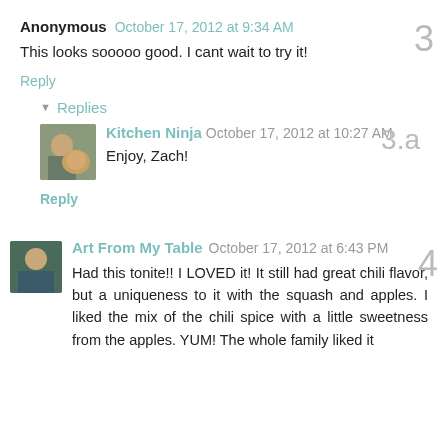Anonymous October 17, 2012 at 9:34 AM
This looks sooooo good. I cant wait to try it!
Reply
▾ Replies
[Figure (photo): Avatar photo of Kitchen Ninja showing a person with a dog]
Kitchen Ninja October 17, 2012 at 10:27 AM
Enjoy, Zach!
Reply
[Figure (photo): Avatar photo of Art From My Table showing a person]
Art From My Table October 17, 2012 at 6:43 PM
Had this tonite!! I LOVED it! It still had great chili flavor, but a uniqueness to it with the squash and apples. I liked the mix of the chili spice with a little sweetness from the apples. YUM! The whole family liked it